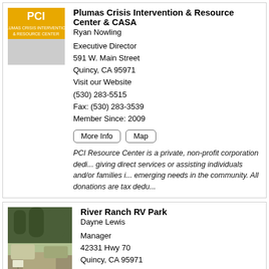Plumas Crisis Intervention & Resource Center & CASA
Ryan Nowling

Executive Director
591 W. Main Street
Quincy, CA 95971
Visit our Website
(530) 283-5515
Fax: (530) 283-3539
Member Since: 2009
More Info | Map
PCI Resource Center is a private, non-profit corporation dedicated to giving direct services or assisting individuals and/or families in emerging needs in the community. All donations are tax deductible.
River Ranch RV Park
Dayne Lewis

Manager
42331 Hwy 70
Quincy, CA 95971
Visit our Website
(530) 283-1908
(530) 718-8361
Member Since: 2004
More Info | Map
The River Ranch RV Park is located in a rural setting with a...